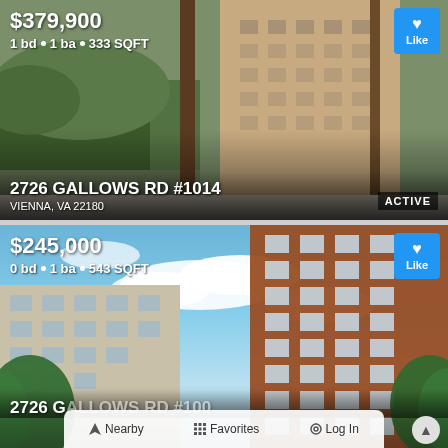[Figure (photo): Interior window view of a condominium overlooking a neighboring building, with green trees visible outside.]
$379,900
1 bd • 1 ba • 933 SQFT
2726 GALLOWS RD #1014
VIENNA, VA 22180
ACTIVE
[Figure (photo): Exterior photo of a tall brick residential condominium building shot from below against a blue sky with white clouds, with green trees on the sides.]
$245,000
0 bd • 1 ba • 543 SQFT
2726 GALLOWS RD #100
Nearby
Favorites
Log In